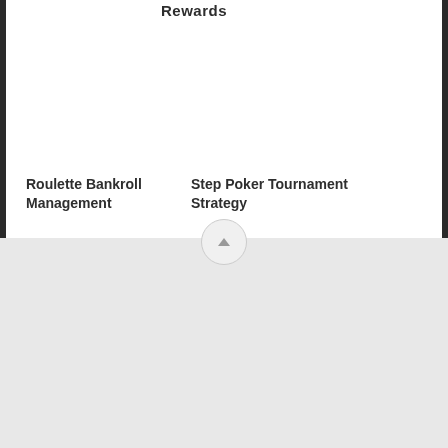Rewards
Roulette Bankroll Management
Step Poker Tournament Strategy